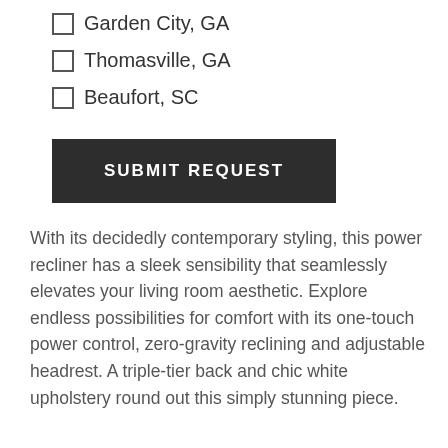Garden City, GA
Thomasville, GA
Beaufort, SC
SUBMIT REQUEST
With its decidedly contemporary styling, this power recliner has a sleek sensibility that seamlessly elevates your living room aesthetic. Explore endless possibilities for comfort with its one-touch power control, zero-gravity reclining and adjustable headrest. A triple-tier back and chic white upholstery round out this simply stunning piece.
Specifications